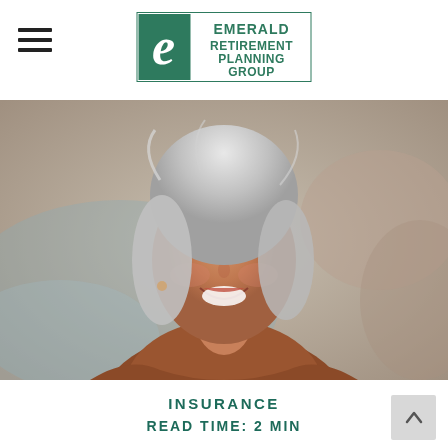Emerald Retirement Planning Group
[Figure (photo): An older woman with silver hair smiling warmly, wearing a rust-colored knit sweater, with a soft blurred background suggesting an outdoor setting.]
INSURANCE
READ TIME: 2 MIN